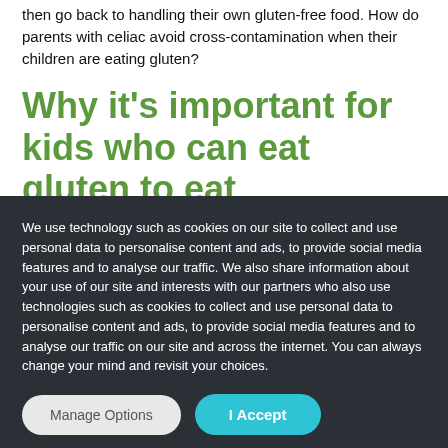then go back to handling their own gluten-free food. How do parents with celiac avoid cross-contamination when their children are eating gluten?
Why it's important for kids who can eat gluten to eat
We use technology such as cookies on our site to collect and use personal data to personalise content and ads, to provide social media features and to analyse our traffic. We also share information about your use of our site and interests with our partners who also use technologies such as cookies to collect and use personal data to personalise content and ads, to provide social media features and to analyse our traffic on our site and across the internet. You can always change your mind and revisit your choices.
Manage Options | I Accept